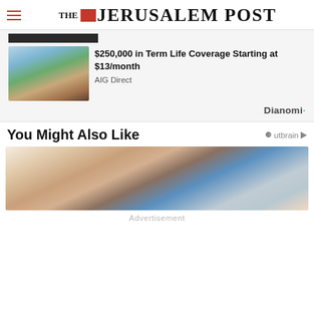THE JERUSALEM POST
[Figure (photo): Couple embracing outdoors near a mountain lake]
$250,000 in Term Life Coverage Starting at $13/month
AIG Direct
Dianomi
You Might Also Like
Outbrain
[Figure (photo): Man and child looking down together indoors]
Advertisement